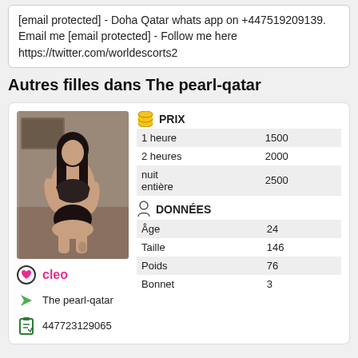[email protected] - Doha Qatar whats app on +447519209139. Email me [email protected] - Follow me here https://twitter.com/worldescorts2
Autres filles dans The pearl-qatar
[Figure (photo): Photo of a young woman posing in lingerie in a mirror room]
|  | PRIX |
| --- | --- |
| 1 heure | 1500 |
| 2 heures | 2000 |
| nuit entière | 2500 |
|  | DONNÉES |
| --- | --- |
| Âge | 24 |
| Taille | 146 |
| Poids | 76 |
| Bonnet | 3 |
cleo
The pearl-qatar
447723129065